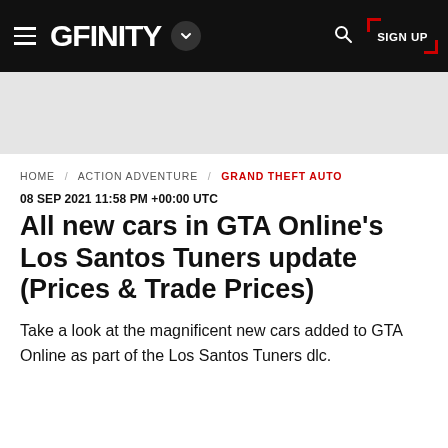GFINITY | HOME / ACTION ADVENTURE / GRAND THEFT AUTO | SIGN UP
[Figure (other): Gray advertisement banner area]
HOME / ACTION ADVENTURE / GRAND THEFT AUTO
08 SEP 2021 11:58 PM +00:00 UTC
All new cars in GTA Online’s Los Santos Tuners update (Prices & Trade Prices)
Take a look at the magnificent new cars added to GTA Online as part of the Los Santos Tuners dlc.